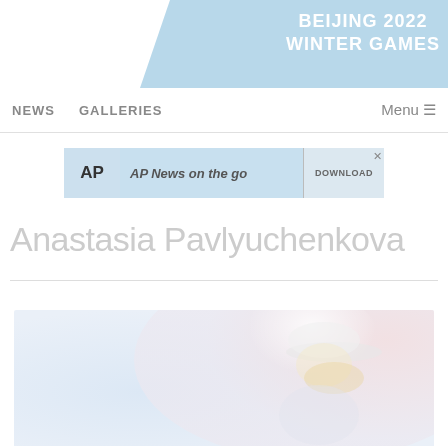[Figure (other): Beijing 2022 Winter Games banner header with light blue diagonal shape]
NEWS    GALLERIES    Menu ≡
[Figure (screenshot): AP News advertisement banner: AP logo, 'AP News on the go' text, and DOWNLOAD button]
Anastasia Pavlyuchenkova
[Figure (photo): Photo of a female tennis player wearing a white cap, partially visible, with a blurred colorful background]